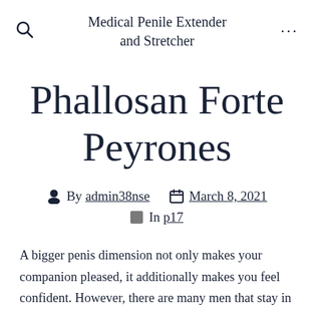Medical Penile Extender and Stretcher
Phallosan Forte Peyrones
By admin38nse   March 8, 2021   In p17
A bigger penis dimension not only makes your companion pleased, it additionally makes you feel confident. However, there are many men that stay in